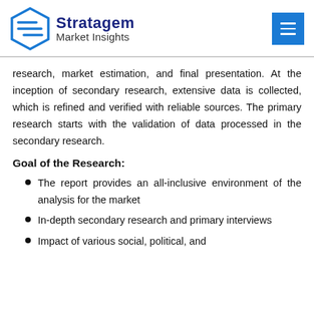Stratagem Market Insights
research, market estimation, and final presentation. At the inception of secondary research, extensive data is collected, which is refined and verified with reliable sources. The primary research starts with the validation of data processed in the secondary research.
Goal of the Research:
The report provides an all-inclusive environment of the analysis for the market
In-depth secondary research and primary interviews
Impact of various social, political, and